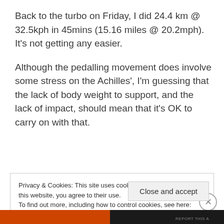Back to the turbo on Friday, I did 24.4 km @ 32.5kph in 45mins (15.16 miles @ 20.2mph). It's not getting any easier.
Although the pedalling movement does involve some stress on the Achilles', I'm guessing that the lack of body weight to support, and the lack of impact, should mean that it's OK to carry on with that.
Privacy & Cookies: This site uses cookies. By continuing to use this website, you agree to their use. To find out more, including how to control cookies, see here: Cookie Policy
Close and accept